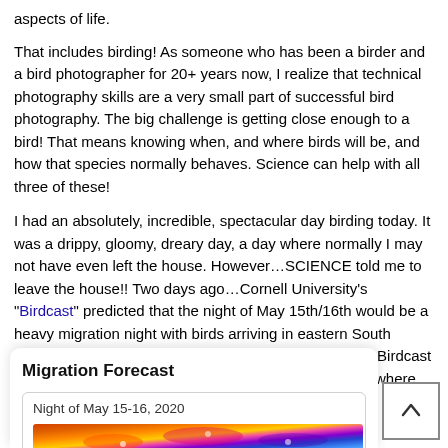aspects of life.
That includes birding! As someone who has been a birder and a bird photographer for 20+ years now, I realize that technical photography skills are a very small part of successful bird photography. The big challenge is getting close enough to a bird! That means knowing when, and where birds will be, and how that species normally behaves. Science can help with all three of these!
I had an absolutely, incredible, spectacular day birding today. It was a drippy, gloomy, dreary day, a day where normally I may not have even left the house. However...SCIENCE told me to leave the house!! Two days ago...Cornell University's "Birdcast" predicted that the night of May 15th/16th would be a heavy migration night with birds arriving in eastern South Dakota in high numbers. I've learned to really trust the Birdcast predictions, particularly after a few events last year where the forecast immediately preceded some absolutely spectacular birding. So what did the forecast predict?
[Figure (screenshot): Migration Forecast panel showing 'Night of May 15-16, 2020' with a colorful bird migration map at the bottom, partially visible.]